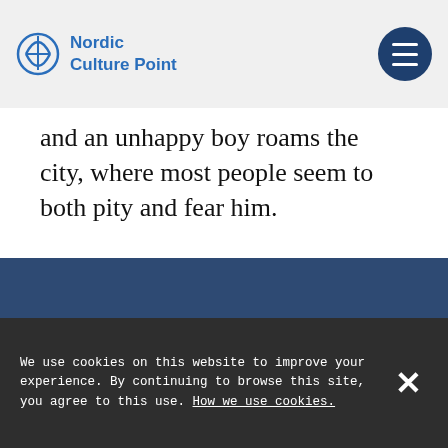Nordic Culture Point
and an unhappy boy roams the city, where most people seem to both pity and fear him.
[Figure (other): Facebook event page button with Facebook logo icon and text 'Go to Facebook event page' on dark blue background]
We use cookies on this website to improve your experience. By continuing to browse this site, you agree to this use. How we use cookies.